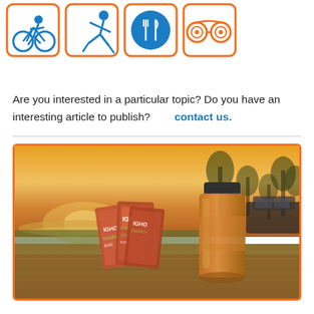[Figure (illustration): Four icon cards with orange borders showing: cyclist (blue), runner (blue), food/fork-and-knife in blue circle, and binoculars (orange) icons]
Are you interested in a particular topic? Do you have an interesting article to publish?        contact us.
[Figure (photo): Outdoor sunset photo showing energy bar packets (ICHO brand) and an orange water bottle on a wooden surface, with blurred background of people in a park near water at golden hour]